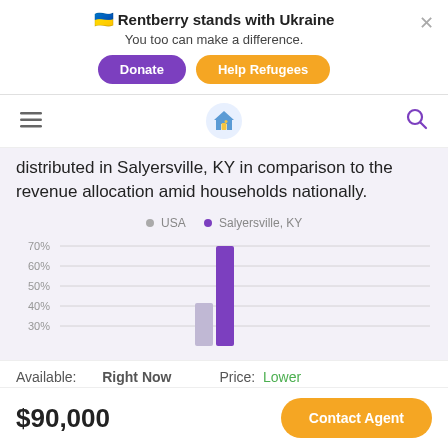[Figure (screenshot): Ukraine support banner with Donate and Help Refugees buttons, Rentberry logo navigation bar]
distributed in Salyersville, KY in comparison to the revenue allocation amid households nationally.
[Figure (bar-chart): ]
Available:  Right Now      Price:  Lower
Protect yourself from rental scams
$90,000